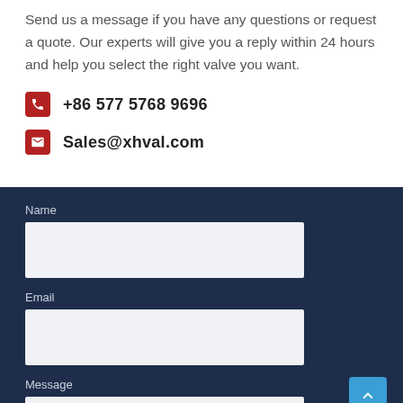Send us a message if you have any questions or request a quote. Our experts will give you a reply within 24 hours and help you select the right valve you want.
+86 577 5768 9696
Sales@xhval.com
Name
Email
Message